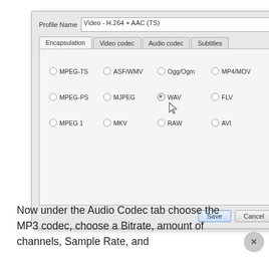[Figure (screenshot): VLC profile dialog showing Encapsulation tab with radio button options: MPEG-TS, ASF/WMV, Ogg/Ogm, MP4/MOV, MPEG-PS, MJPEG, WAV (selected), FLV, MPEG 1, MKV, RAW, AVI. Profile Name field shows 'Video - H.264 + AAC (TS)'. Tabs: Encapsulation, Video codec, Audio codec, Subtitles. Save and Cancel buttons.]
Now under the Audio Codec tab choose the MP3 codec, choose a Bitrate, amount of channels, Sample Rate, and